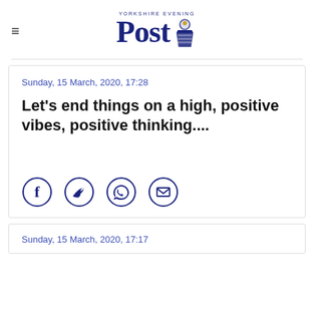Yorkshire Evening Post
Sunday, 15 March, 2020, 17:28
Let's end things on a high, positive vibes, positive thinking....
[Figure (infographic): Social share icons: Facebook, Twitter, WhatsApp, Email]
Sunday, 15 March, 2020, 17:17